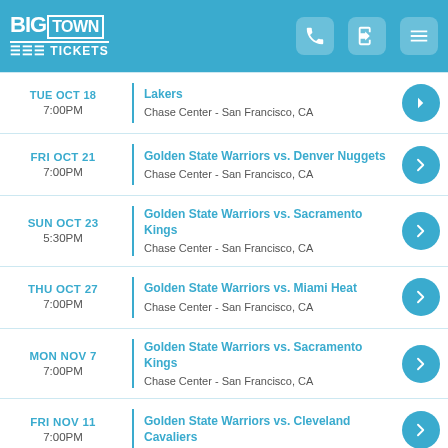BigTown Tickets
Lakers | Chase Center - San Francisco, CA | 7:00PM
FRI OCT 21 | 7:00PM | Golden State Warriors vs. Denver Nuggets | Chase Center - San Francisco, CA
SUN OCT 23 | 5:30PM | Golden State Warriors vs. Sacramento Kings | Chase Center - San Francisco, CA
THU OCT 27 | 7:00PM | Golden State Warriors vs. Miami Heat | Chase Center - San Francisco, CA
MON NOV 7 | 7:00PM | Golden State Warriors vs. Sacramento Kings | Chase Center - San Francisco, CA
FRI NOV 11 | 7:00PM | Golden State Warriors vs. Cleveland Cavaliers